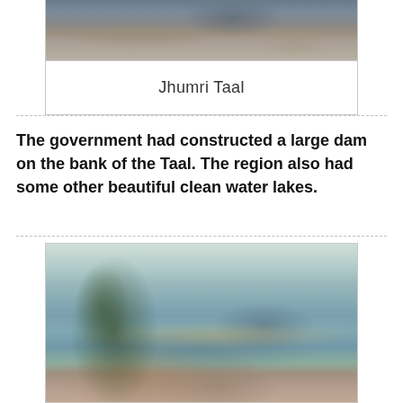[Figure (photo): Aerial or elevated view of rocky shoreline with water, shown at top of page]
Jhumri Taal
The government had constructed a large dam on the bank of the Taal. The region also had some other beautiful clean water lakes.
[Figure (photo): Photograph of a dam and reservoir with a tree on the left, a walkway/pier extending into calm blue water, a tower structure in the middle distance, and hills in the background under a pale sky]